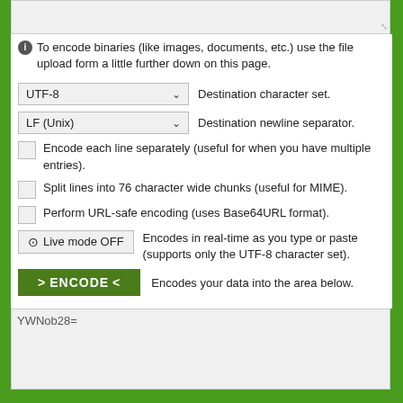[Figure (screenshot): Textarea input box (top, partially visible)]
To encode binaries (like images, documents, etc.) use the file upload form a little further down on this page.
UTF-8  Destination character set.
LF (Unix)  Destination newline separator.
Encode each line separately (useful for when you have multiple entries).
Split lines into 76 character wide chunks (useful for MIME).
Perform URL-safe encoding (uses Base64URL format).
Live mode OFF  Encodes in real-time as you type or paste (supports only the UTF-8 character set).
> ENCODE <  Encodes your data into the area below.
YWNob28=